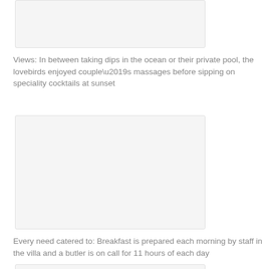[Figure (photo): Partially visible photo placeholder at top of page]
Views: In between taking dips in the ocean or their private pool, the lovebirds enjoyed couple’s massages before sipping on speciality cocktails at sunset
[Figure (photo): Large photo placeholder in center of page]
Every need catered to: Breakfast is prepared each morning by staff in the villa and a butler is on call for 11 hours of each day
[Figure (photo): Partially visible photo placeholder at bottom of page]